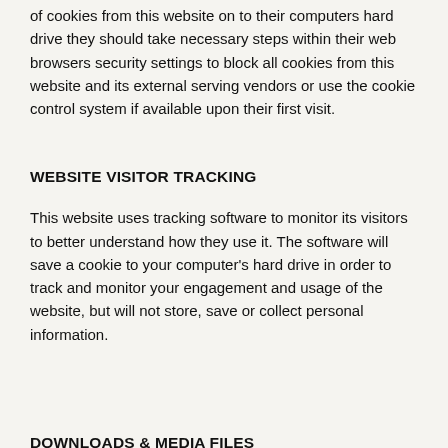of cookies from this website on to their computers hard drive they should take necessary steps within their web browsers security settings to block all cookies from this website and its external serving vendors or use the cookie control system if available upon their first visit.
WEBSITE VISITOR TRACKING
This website uses tracking software to monitor its visitors to better understand how they use it. The software will save a cookie to your computer's hard drive in order to track and monitor your engagement and usage of the website, but will not store, save or collect personal information.
DOWNLOADS & MEDIA FILES